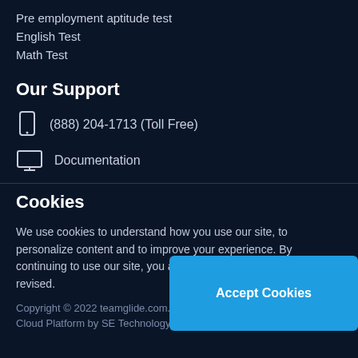Pre employment aptitude test
English Test
Math Test
Our Support
(888) 204-1713 (Toll Free)
Documentation
Cookies
We use cookies to understand how you use our site, to personalize content and to improve your experience. By continuing to use our site, you accept our use of cookies and revised.
Copyright © 2022 teamglide.com. All Rights Reserved. Cloud Platform by SE Technology
Accept Cookies